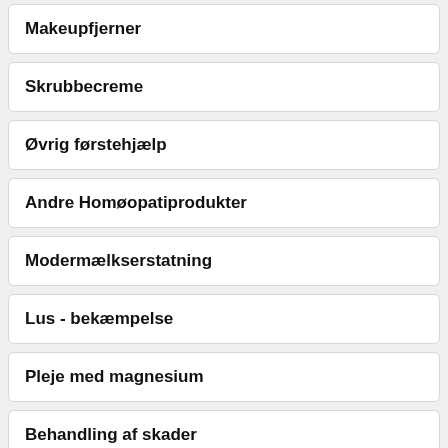Makeupfjerner
Skrubbecreme
Øvrig førstehjælp
Andre Homøopatiprodukter
Modermælkserstatning
Lus - bekæmpelse
Pleje med magnesium
Behandling af skader